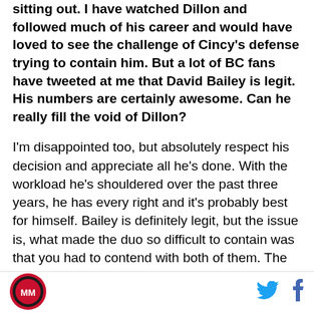sitting out. I have watched Dillon and followed much of his career and would have loved to see the challenge of Cincy's defense trying to contain him. But a lot of BC fans have tweeted at me that David Bailey is legit. His numbers are certainly awesome. Can he really fill the void of Dillon?
I'm disappointed too, but absolutely respect his decision and appreciate all he's done. With the workload he's shouldered over the past three years, he has every right and it's probably best for himself. Bailey is definitely legit, but the issue is, what made the duo so difficult to contain was that you had to contend with both of them. The power running from both of them could wear defenses down. Often, teams throw out a
[Figure (logo): Circular sports logo with red and black design]